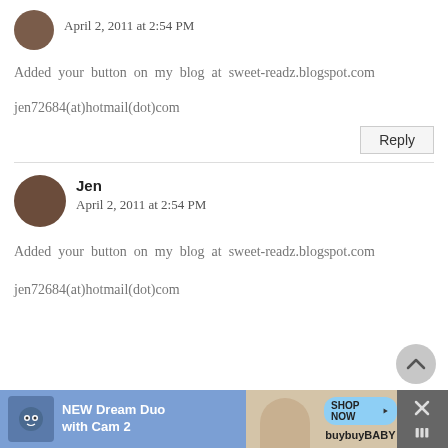April 2, 2011 at 2:54 PM
Added your button on my blog at sweet-readz.blogspot.com
jen72684(at)hotmail(dot)com
Reply
Jen
April 2, 2011 at 2:54 PM
Added your button on my blog at sweet-readz.blogspot.com
jen72684(at)hotmail(dot)com
NEW Dream Duo with Cam 2